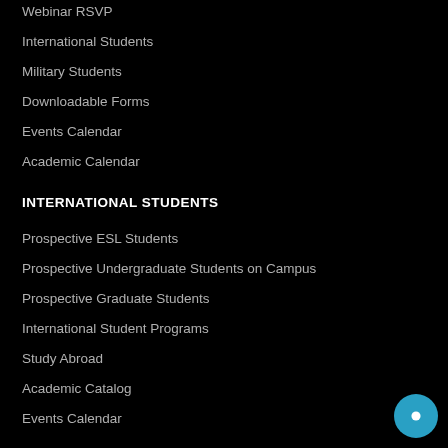Webinar RSVP
International Students
Military Students
Downloadable Forms
Events Calendar
Academic Calendar
INTERNATIONAL STUDENTS
Prospective ESL Students
Prospective Undergraduate Students on Campus
Prospective Graduate Students
International Student Programs
Study Abroad
Academic Catalog
Events Calendar
CURRENT STUDENTS
MyHIU
Webmail
Student Life